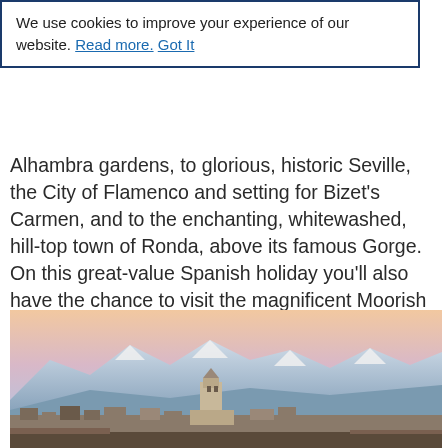We use cookies to improve your experience of our website. Read more. Got It
Alhambra gardens, to glorious, historic Seville, the City of Flamenco and setting for Bizet's Carmen, and to the enchanting, whitewashed, hill-top town of Ronda, above its famous Gorge. On this great-value Spanish holiday you'll also have the chance to visit the magnificent Moorish stronghold of Cordoba and its extraordinary Mezquita, on a fascinating optional excursion.
[Figure (photo): Photo of a historic Spanish town with a church/cathedral tower in the foreground and snow-capped mountains in the background under a pink and blue sky.]